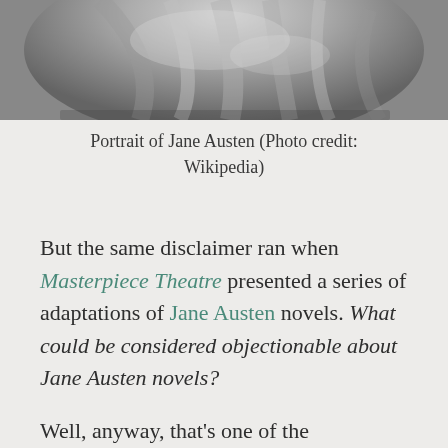[Figure (photo): Black and white portrait photograph of Jane Austen, cropped to show upper portion, showing draped fabric/clothing detail.]
Portrait of Jane Austen (Photo credit: Wikipedia)
But the same disclaimer ran when Masterpiece Theatre presented a series of adaptations of Jane Austen novels. What could be considered objectionable about Jane Austen novels?
Well, anyway, that's one of the